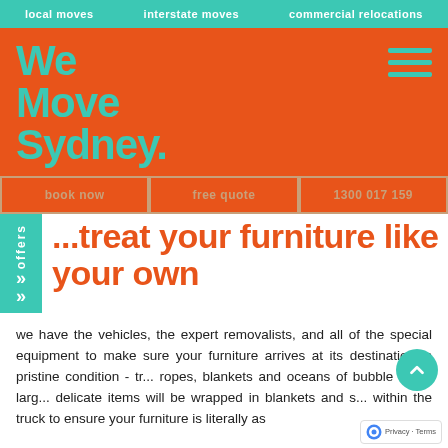local moves   interstate moves   commercial relocations
We Move Sydney.
book now   free quote   1300 017 159
...treat your furniture like your own
we have the vehicles, the expert removalists, and all of the special equipment to make sure your furniture arrives at its destination in pristine condition - tr... ropes, blankets and oceans of bubble wrap. larg... delicate items will be wrapped in blankets and s... within the truck to ensure your furniture is literally as